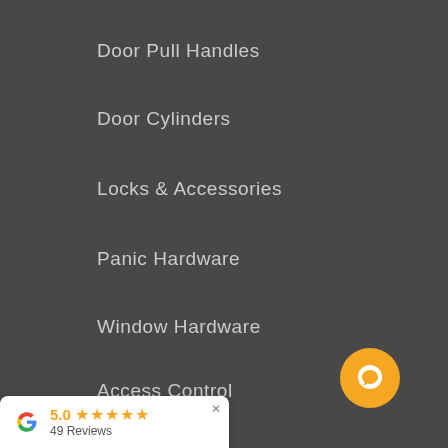Door Pull Handles
Door Cylinders
Locks & Accessories
Panic Hardware
Window Hardware
Access Control
Info
About Us
[Figure (other): Google reviews widget showing 5.0 rating with 5 stars and 49 Reviews, with a close button]
[Figure (other): Yellow circular chat button in bottom-right corner]